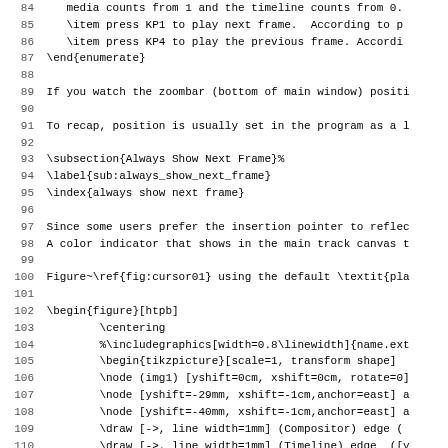LaTeX source code lines 84-115, showing enumerate environment, subsection, index, figure environment with tikzpicture and related LaTeX commands.